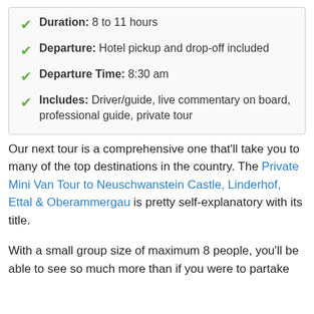Duration: 8 to 11 hours
Departure: Hotel pickup and drop-off included
Departure Time: 8:30 am
Includes: Driver/guide, live commentary on board, professional guide, private tour
Our next tour is a comprehensive one that'll take you to many of the top destinations in the country. The Private Mini Van Tour to Neuschwanstein Castle, Linderhof, Ettal & Oberammergau is pretty self-explanatory with its title.
With a small group size of maximum 8 people, you'll be able to see so much more than if you were to partake